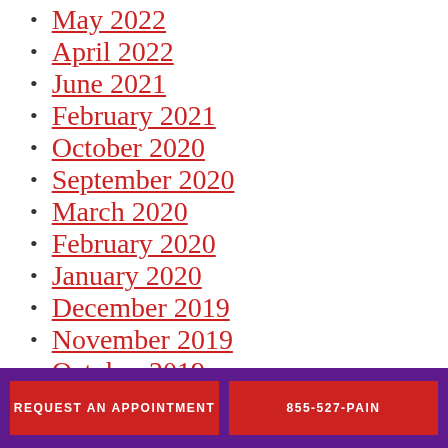May 2022
April 2022
June 2021
February 2021
October 2020
September 2020
March 2020
February 2020
January 2020
December 2019
November 2019
October 2019
September 2019
REQUEST AN APPOINTMENT | 855-527-PAIN